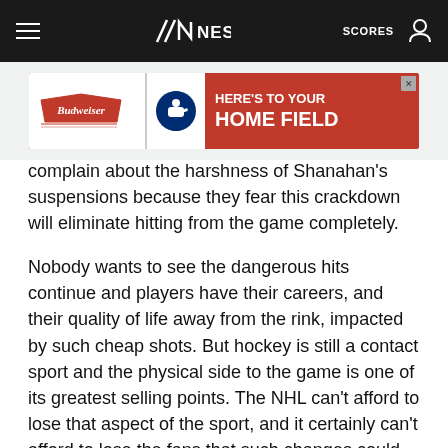NESN — SCORES
[Figure (screenshot): Budweiser and MLB advertisement banner with text HERE'S TO YOUR HOME FIELD on red background]
complain about the harshness of Shanahan's suspensions because they fear this crackdown will eliminate hitting from the game completely.
Nobody wants to see the dangerous hits continue and players have their careers, and their quality of life away from the rink, impacted by such cheap shots. But hockey is still a contact sport and the physical side to the game is one of its greatest selling points. The NHL can't afford to lose that aspect of the sport, and it certainly can't afford to lose the fans that such changes could drive away.